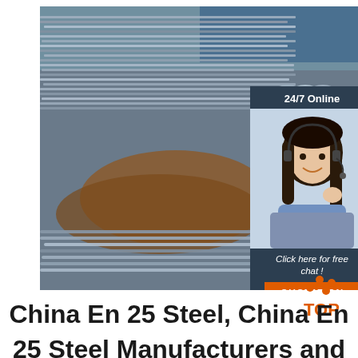[Figure (photo): Photo of stacked steel bars/rods in an industrial outdoor setting with a 24/7 online chat widget overlay showing a customer service representative]
China En 25 Steel, China En 25 Steel Manufacturers and